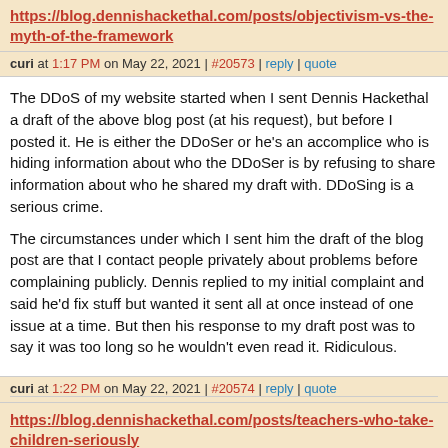https://blog.dennishackethal.com/posts/objectivism-vs-the-myth-of-the-framework
curi at 1:17 PM on May 22, 2021 | #20573 | reply | quote
The DDoS of my website started when I sent Dennis Hackethal a draft of the above blog post (at his request), but before I posted it. He is either the DDoSer or he's an accomplice who is hiding information about who the DDoSer is by refusing to share information about who he shared my draft with. DDoSing is a serious crime.
The circumstances under which I sent him the draft of the blog post are that I contact people privately about problems before complaining publicly. Dennis replied to my initial complaint and said he'd fix stuff but wanted it sent all at once instead of one issue at a time. But then his response to my draft post was to say it was too long so he wouldn't even read it. Ridiculous.
curi at 1:22 PM on May 22, 2021 | #20574 | reply | quote
https://blog.dennishackethal.com/posts/teachers-who-take-children-seriously
This post attacks teachers who claim to understand and value TCS. That is a theme I've written about before. Also, that teachers who d...